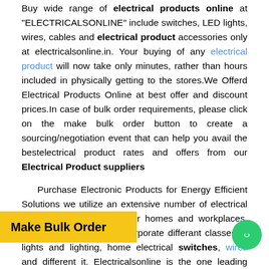Buy wide range of electrical products online at "ELECTRICALSONLINE" include switches, LED lights, wires, cables and electrical product accessories only at electricalsonline.in. Your buying of any electrical product will now take only minutes, rather than hours included in physically getting to the stores.We Offerd Electrical Products Online at best offer and discount prices.In case of bulk order requirements, please click on the make bulk order button to create a sourcing/negotiation event that can help you avail the bestelectrical product rates and offers from our Electrical Product suppliers
Purchase Electronic Products for Energy Efficient Solutions we utilize an extensive number of electrical gadgets once a day in our homes and workplaces. These electrical items incorporate differant classes of lights and lighting, home electrical switches, wires and different it. Electricalsonline is the one leading shopping goal for every one